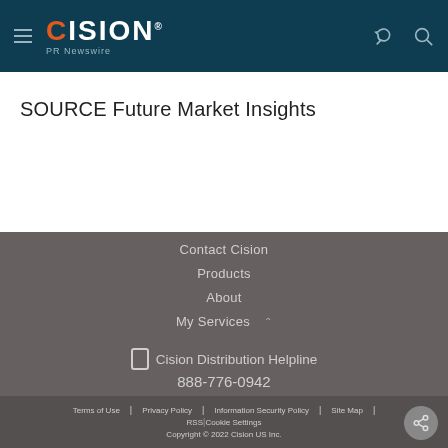CISION PR Newswire
SOURCE Future Market Insights
Contact Cision
Products
About
My Services
Cision Distribution Helpline
888-776-0942
Terms of Use | Privacy Policy | Information Security Policy | Site Map | RSS | Cookie Settings
Copyright © 2022 Cision US Inc.